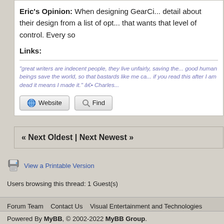Eric's Opinion: When designing GearCi... detail about their design from a list of opt... that wants that level of control. Every so
Links:
"great writers are indecent people, they live unfairly, saving the... good human beings save the world, so that bastards like me ca... if you read this after I am dead it means I made it." â€• Charles...
« Next Oldest | Next Newest »
View a Printable Version
Users browsing this thread: 1 Guest(s)
Forum Team   Contact Us   Visual Entertainment and Technologies   Return to T...
Powered By MyBB, © 2002-2022 MyBB Group.